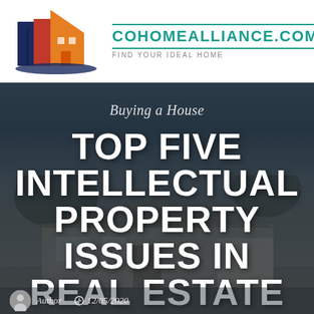[Figure (logo): CoHome Alliance logo: stylized house with red, orange, and navy blue geometric shapes forming building silhouettes, with a blue baseline arc underneath]
COHOMEALLIANCE.COM FIND YOUR IDEAL HOME
[Figure (photo): Hero background photo of a suburban single-story home with brick exterior, garage, and landscaping at dusk/twilight with trees and purple sky]
Buying a House
TOP FIVE INTELLECTUAL PROPERTY ISSUES IN REAL ESTATE
Author  12/05/2020